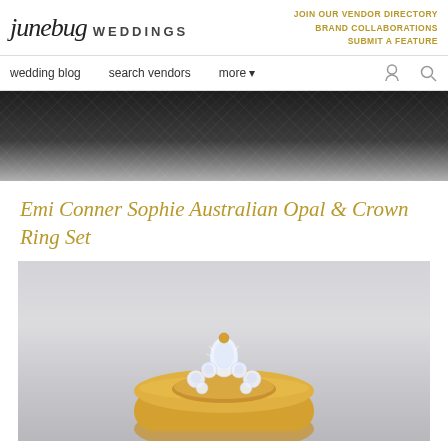junebug WEDDINGS | JOIN OUR VENDOR DIRECTORY  BRAND COLLABORATIONS  SUBMIT A FEATURE
wedding blog  search vendors  more
[Figure (photo): Close-up photo of dark woven fabric texture, black and grey tones]
Emi Conner Sophie Australian Opal & Crown Ring Set
[Figure (photo): Photo of a gold crown-style diamond ring set against a light grey background, showing sparkling diamond details and gold band]